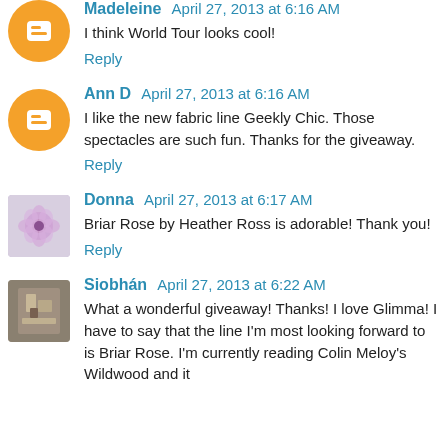Madeleine April 27, 2013 at 6:16 AM
I think World Tour looks cool!
Reply
Ann D April 27, 2013 at 6:16 AM
I like the new fabric line Geekly Chic. Those spectacles are such fun. Thanks for the giveaway.
Reply
Donna April 27, 2013 at 6:17 AM
Briar Rose by Heather Ross is adorable! Thank you!
Reply
Siobhán April 27, 2013 at 6:22 AM
What a wonderful giveaway! Thanks! I love Glimma! I have to say that the line I'm most looking forward to is Briar Rose. I'm currently reading Colin Meloy's Wildwood and it